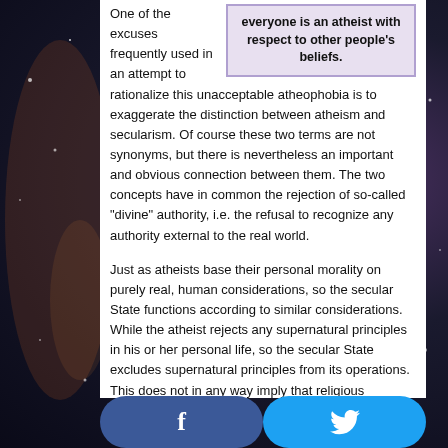everyone is an atheist with respect to other people's beliefs.
One of the excuses frequently used in an attempt to rationalize this unacceptable atheophobia is to exaggerate the distinction between atheism and secularism. Of course these two terms are not synonyms, but there is nevertheless an important and obvious connection between them. The two concepts have in common the rejection of so-called “divine” authority, i.e. the refusal to recognize any authority external to the real world.
Just as atheists base their personal morality on purely real, human considerations, so the secular State functions according to similar considerations. While the atheist rejects any supernatural principles in his or her personal life, so the secular State excludes supernatural principles from its operations. This does not in any way imply that religious believers are excluded from public institutions. However, they must avoid any reference to supernatural considerations in legislative or administrative debates.
[Figure (other): Social media share buttons: Facebook (blue) and Twitter (light blue) at the bottom of the page]